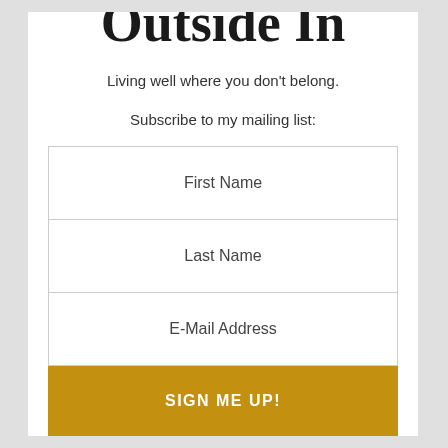Outside In
Living well where you don't belong.
Subscribe to my mailing list:
First Name
Last Name
E-Mail Address
SIGN ME UP!